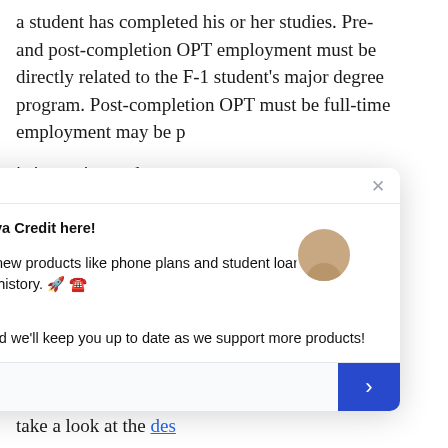a student has completed his or her studies. Pre- and post-completion OPT employment must be directly related to the F-1 student's major degree program. Post-completion OPT must be full-time employment may be [part-time while school] is in session and up to [full-time when school is] not in session.

For F-1 visa holders w[ho are studying in] specific fields, the STE[M OPT extension applies.] This option provides [F-1 visa holders the opportunity] to extend their post-c[ompletion OPT by 24 months.] To check if your scien[ce, technology, engineering, or math] degree qualifies[, you can] take a look at the des[ignated STEM list from U.S.] Immigration and Cust[oms Enforcement (ICE).]

Finally, F-1 students who have H-1B applications pending
[Figure (screenshot): Chat popup from 'Jess from Nova Credit' with message about new products accepting international credit history, emoji icons (rocket, phone, books), email signup form with submit button.]